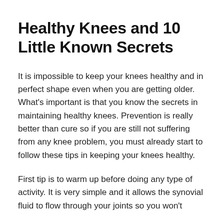Healthy Knees and 10 Little Known Secrets
It is impossible to keep your knees healthy and in perfect shape even when you are getting older. What's important is that you know the secrets in maintaining healthy knees. Prevention is really better than cure so if you are still not suffering from any knee problem, you must already start to follow these tips in keeping your knees healthy.
First tip is to warm up before doing any type of activity. It is very simple and it allows the synovial fluid to flow through your joints so you won't